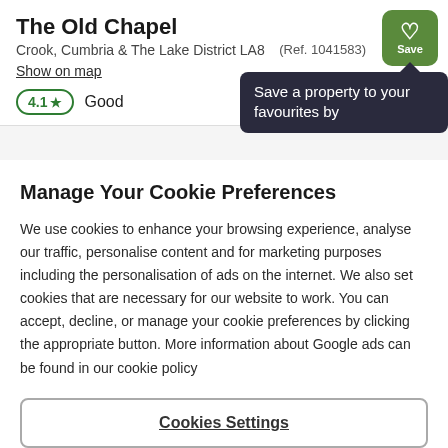The Old Chapel
Crook, Cumbria & The Lake District LA8
Show on map
(Ref. 1041583)
[Figure (other): Green Save button with heart icon in top right corner]
4.1 ★  Good
Save a property to your favourites by
Manage Your Cookie Preferences
We use cookies to enhance your browsing experience, analyse our traffic, personalise content and for marketing purposes including the personalisation of ads on the internet. We also set cookies that are necessary for our website to work. You can accept, decline, or manage your cookie preferences by clicking the appropriate button. More information about Google ads can be found in our cookie policy
Cookies Settings
Reject all cookies